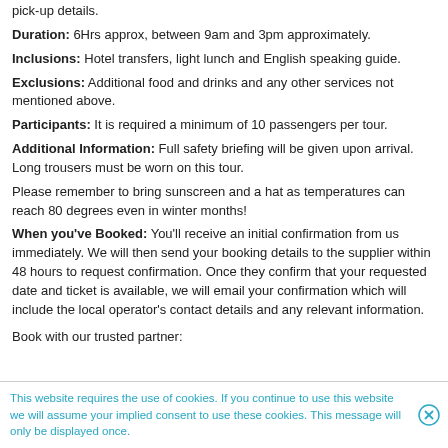pick-up details.
Duration: 6Hrs approx, between 9am and 3pm approximately.
Inclusions: Hotel transfers, light lunch and English speaking guide.
Exclusions: Additional food and drinks and any other services not mentioned above.
Participants: It is required a minimum of 10 passengers per tour.
Additional Information: Full safety briefing will be given upon arrival. Long trousers must be worn on this tour.
Please remember to bring sunscreen and a hat as temperatures can reach 80 degrees even in winter months!
When you've Booked: You'll receive an initial confirmation from us immediately. We will then send your booking details to the supplier within 48 hours to request confirmation. Once they confirm that your requested date and ticket is available, we will email your confirmation which will include the local operator's contact details and any relevant information.
Book with our trusted partner:
This website requires the use of cookies. If you continue to use this website we will assume your implied consent to use these cookies. This message will only be displayed once.